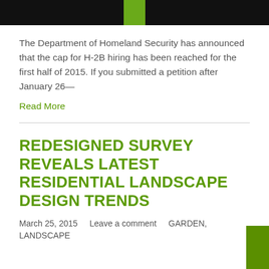The Department of Homeland Security has announced that the cap for H-2B hiring has been reached for the first half of 2015. If you submitted a petition after January 26—
Read More
REDESIGNED SURVEY REVEALS LATEST RESIDENTIAL LANDSCAPE DESIGN TRENDS
March 25, 2015    Leave a comment    GARDEN,
LANDSCAPE